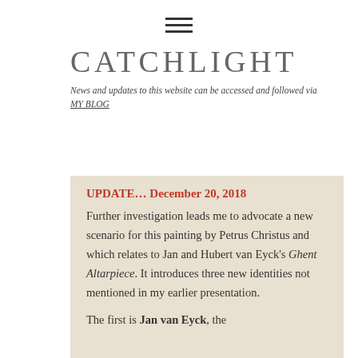[Figure (other): Hamburger menu icon with three horizontal lines]
CATCHLIGHT
News and updates to this website can be accessed and followed via MY BLOG
UPDATE… December 20, 2018
Further investigation leads me to advocate a new scenario for this painting by Petrus Christus and which relates to Jan and Hubert van Eyck's Ghent Altarpiece. It introduces three new identities not mentioned in my earlier presentation.
The first is Jan van Eyck, the